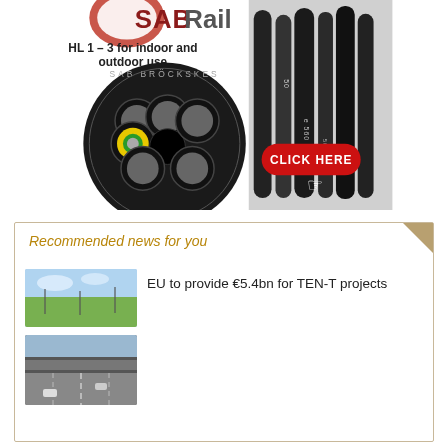[Figure (illustration): SAB Rail advertisement showing cable cross-section diagram with 'SAB BRÖCKSKES' text on black circular badge, multiple cables photo on right, and 'CLICK HERE' red button. Text reads: SAB Rail, HL 1-3 for indoor and outdoor use.]
Recommended news for you
[Figure (photo): Two stacked thumbnail photos: top shows green field with utility poles under blue sky; bottom shows highway with cars and overpass.]
EU to provide €5.4bn for TEN-T projects